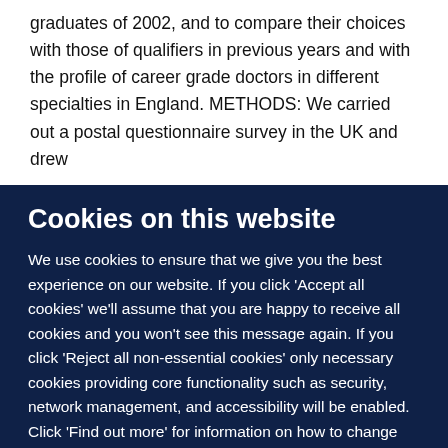graduates of 2002, and to compare their choices with those of qualifiers in previous years and with the profile of career grade doctors in different specialties in England. METHODS: We carried out a postal questionnaire survey in the UK and drew
Cookies on this website
We use cookies to ensure that we give you the best experience on our website. If you click 'Accept all cookies' we'll assume that you are happy to receive all cookies and you won't see this message again. If you click 'Reject all non-essential cookies' only necessary cookies providing core functionality such as security, network management, and accessibility will be enabled. Click 'Find out more' for information on how to change your cookie settings.
Accept all cookies
Reject all non-essential cookies
Find out more